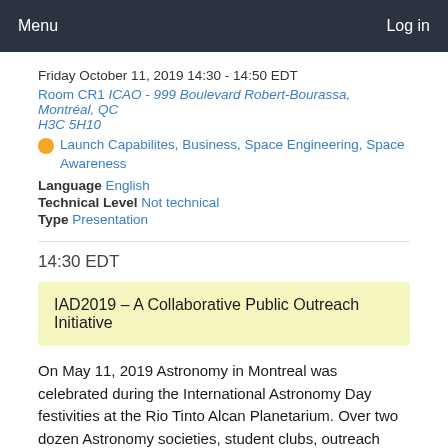Menu    Log in
Friday October 11, 2019 14:30 - 14:50 EDT
Room CR1 ICAO - 999 Boulevard Robert-Bourassa, Montréal, QC H3C 5H10
Launch Capabilites, Business, Space Engineering, Space Awareness
Language English
Technical Level Not technical
Type Presentation
14:30 EDT
IAD2019 – A Collaborative Public Outreach Initiative
On May 11, 2019 Astronomy in Montreal was celebrated during the International Astronomy Day festivities at the Rio Tinto Alcan Planetarium. Over two dozen Astronomy societies, student clubs, outreach groups, artists and